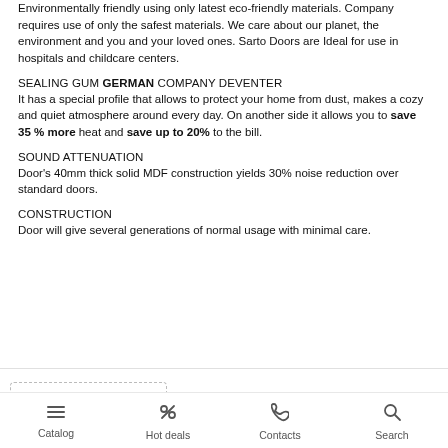Environmentally friendly using only latest eco-friendly materials. Company requires use of only the safest materials. We care about our planet, the environment and you and your loved ones. Sarto Doors are Ideal for use in hospitals and childcare centers.
SEALING GUM GERMAN COMPANY DEVENTER
It has a special profile that allows to protect your home from dust, makes a cozy and quiet atmosphere around every day. On another side it allows you to save 35 % more heat and save up to 20% to the bill.
SOUND ATTENUATION
Door's 40mm thick solid MDF construction yields 30% noise reduction over standard doors.
CONSTRUCTION
Door will give several generations of normal usage with minimal care.
[Figure (infographic): Rating badge showing 4.6 rating with star icons and Google-style badge logo, with a horizontal line extending to the right]
Catalog   Hot deals   Contacts   Search